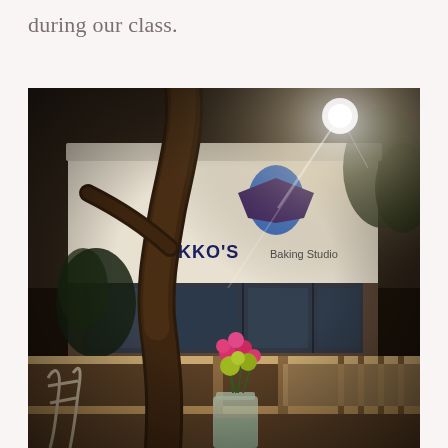during our class.
[Figure (photo): Exterior photo of Nikko's Baking Studio storefront taken from a wooden deck/patio area. A tree trunk is visible in the foreground. The building is white with large glass windows and a sign reading 'NIKKO'S Baking Studio'. There is a blue logo above the sign. Bright sunlight creates a lens flare effect in the upper right. In the lower foreground there is a mason jar with colorful flowers (pink and yellow/green blooms) on a wooden railing.]